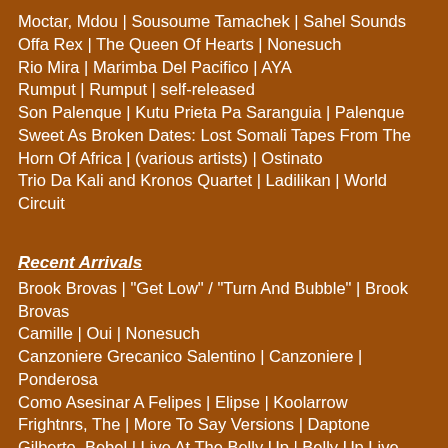Moctar, Mdou | Sousoume Tamachek | Sahel Sounds
Offa Rex | The Queen Of Hearts | Nonesuch
Rio Mira | Marimba Del Pacifico | AYA
Rumput | Rumput | self-released
Son Palenque | Kutu Prieta Pa Saranguia | Palenque
Sweet As Broken Dates: Lost Somali Tapes From The Horn Of Africa | (various artists) | Ostinato
Trio Da Kali and Kronos Quartet | Ladilikan | World Circuit
Recent Arrivals
Brook Brovas | "Get Low" / "Turn And Bubble" | Brook Brovas
Camille | Oui | Nonesuch
Canzoniere Grecanico Salentino | Canzoniere | Ponderosa
Como Asesinar A Felipes | Elipse | Koolarrow
Frightnrs, The | More To Say Versions | Daptone
Gilberto, Bebel | Live At The Belly Up | Belly Up Live
Hasa-Mazzotta | Novilunio | Ponderosa
Helsinki-Cotonou Ensemble | "Nonvi Tchi" | Bafe's Factory
Joel Phil | "Raise Up" | JP Made
Keishera | It's Me (4 tracks) | self-released